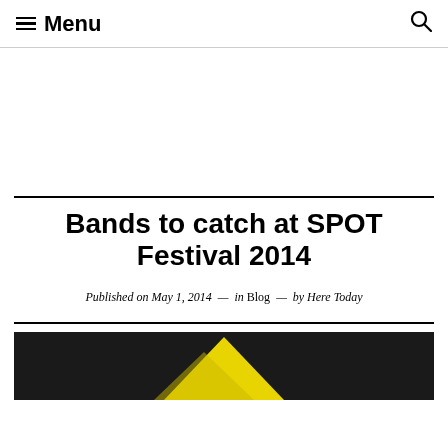Menu
Bands to catch at SPOT Festival 2014
Published on May 1, 2014 — in Blog — by Here Today
[Figure (photo): Dark background image with yellow/gold angular shape at the bottom, partial view of SPOT Festival 2014 promotional image]